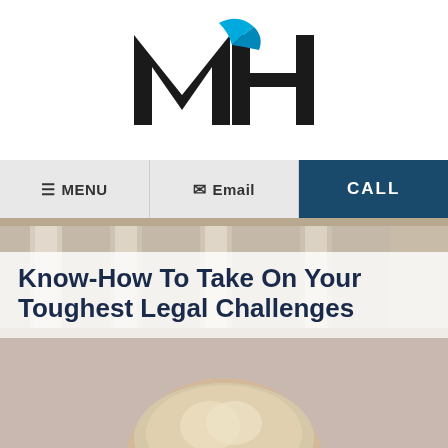[Figure (logo): MCH law firm logo — bold black M and H letters with a blue swoosh/quill accent between them]
☰ MENU  ✉ Email  CALL
[Figure (photo): Greek or Roman stone columns background photo, muted/blurred]
Know-How To Take On Your Toughest Legal Challenges
[Figure (photo): Partial photo of a person with blonde/gray hair at bottom of page, against a marble or stone background]